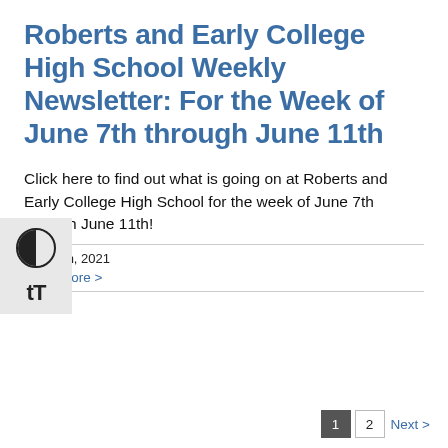Roberts and Early College High School Weekly Newsletter: For the Week of June 7th through June 11th
Click here to find out what is going on at Roberts and Early College High School for the week of June 7th through June 11th!
June 7th, 2021
Read More >